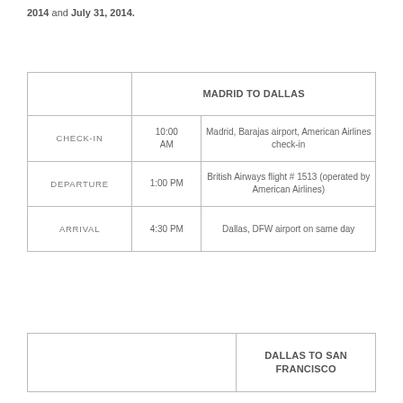2014 and July 31, 2014.
|  | MADRID TO DALLAS |  |
| --- | --- | --- |
| CHECK-IN | 10:00 AM | Madrid, Barajas airport, American Airlines check-in |
| DEPARTURE | 1:00 PM | British Airways flight # 1513 (operated by American Airlines) |
| ARRIVAL | 4:30 PM | Dallas, DFW airport on same day |
|  | DALLAS TO SAN FRANCISCO |  |
| --- | --- | --- |